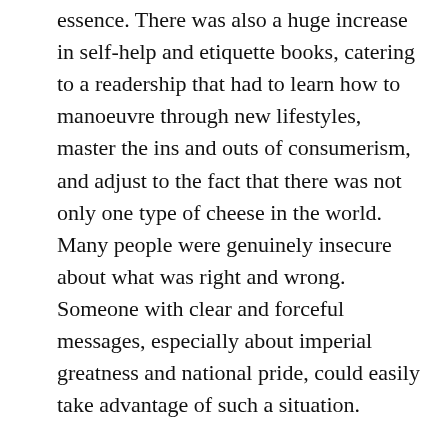essence. There was also a huge increase in self-help and etiquette books, catering to a readership that had to learn how to manoeuvre through new lifestyles, master the ins and outs of consumerism, and adjust to the fact that there was not only one type of cheese in the world. Many people were genuinely insecure about what was right and wrong. Someone with clear and forceful messages, especially about imperial greatness and national pride, could easily take advantage of such a situation.

History is one of the main pillars of Putin's propaganda. As Clifford Gaddy and Fiona Hill have convincingly argued, Putin positions himself as a man of history for whom its interpretation and reinterpretation have profound consequences. His recent distortions of